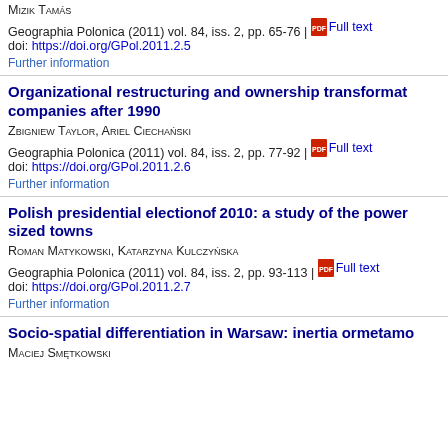Mizik Tamás
Geographia Polonica (2011) vol. 84, iss. 2, pp. 65-76 | Full text
doi: https://doi.org/GPol.2011.2.5
Further information
Organizational restructuring and ownership transformation of transport companies after 1990
Zbigniew Taylor, Ariel Ciechański
Geographia Polonica (2011) vol. 84, iss. 2, pp. 77-92 | Full text
doi: https://doi.org/GPol.2011.2.6
Further information
Polish presidential election of 2010: a study of the power of medium-sized towns
Roman Matykowski, Katarzyna Kulczyńska
Geographia Polonica (2011) vol. 84, iss. 2, pp. 93-113 | Full text
doi: https://doi.org/GPol.2011.2.7
Further information
Socio-spatial differentiation in Warsaw: inertia or metamorphosis
Maciej Smętkowski